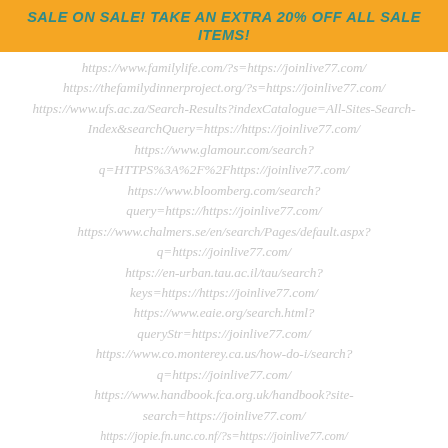SALE ON SALE! TAKE AN EXTRA 20% OFF ALL SALE ITEMS!
https://www.familylife.com/?s=https://joinlive77.com/
https://thefamilydinnerproject.org/?s=https://joinlive77.com/
https://www.ufs.ac.za/Search-Results?indexCatalogue=All-Sites-Search-Index&searchQuery=https://https://joinlive77.com/
https://www.glamour.com/search?q=HTTPS%3A%2F%2Fhttps://joinlive77.com/
https://www.bloomberg.com/search?query=https://https://joinlive77.com/
https://www.chalmers.se/en/search/Pages/default.aspx?q=https://joinlive77.com/
https://en-urban.tau.ac.il/tau/search?keys=https://https://joinlive77.com/
https://www.eaie.org/search.html?queryStr=https://joinlive77.com/
https://www.co.monterey.ca.us/how-do-i/search?q=https://joinlive77.com/
https://www.handbook.fca.org.uk/handbook?site-search=https://joinlive77.com/
https://jopie.fn.unc.co.nf/?s=https://joinlive77.com/